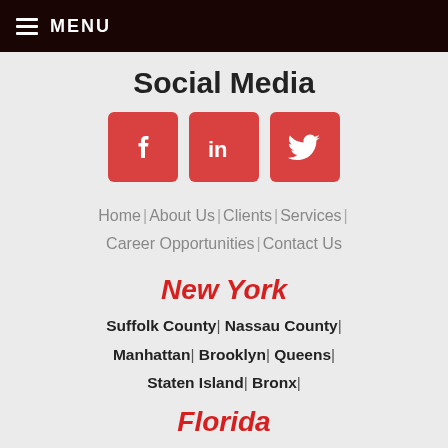≡ MENU
Social Media
[Figure (logo): Three social media icons: Facebook (f), LinkedIn (in), Twitter (bird), each on a red rounded square background]
Home | About Us | Clients | Services | Career Opportunities | Contact Us
New York
Suffolk County | Nassau County | Manhattan | Brooklyn | Queens | Staten Island | Bronx |
Florida
Indian River | Okeechobee | St. Lucie | Martin | Palm Beach |